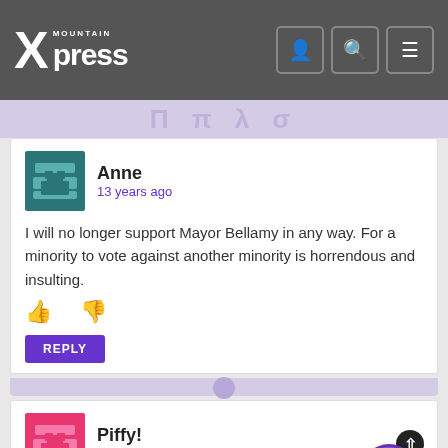Mountain Xpress
Anne
13 years ago
I will no longer support Mayor Bellamy in any way. For a minority to vote against another minority is horrendous and insulting.
REPLY
Piffy!
13 years ago
[b]If same sex is ok and the bible says it is not, why do not recognize a man and woman in love but want or need